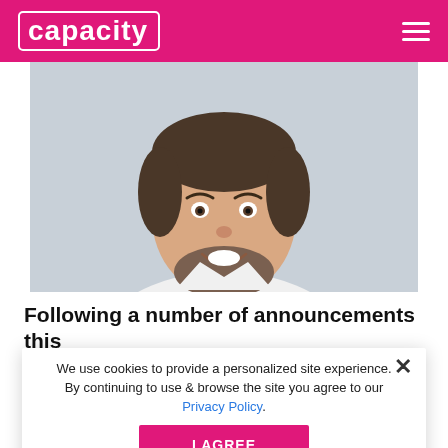capacity
[Figure (photo): Headshot of a smiling man with short dark hair and beard, wearing a white shirt, against a light grey background]
Following a number of announcements this month, Capacity spoke to Vincent Gatineau, Chief Marketing & Sales Officer, and Diego Matas, COO of Fluidit, about the company's plans for next few months and their perspective on the subsea cable industry as a whole.
We use cookies to provide a personalized site experience. By continuing to use & browse the site you agree to our Privacy Policy.